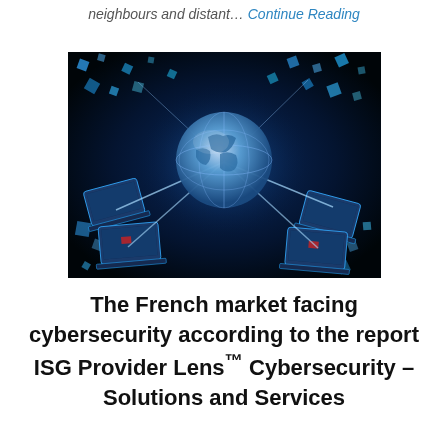neighbours and distant… Continue Reading
[Figure (photo): Digital cybersecurity concept image showing a globe with laptops connected by glowing blue lines, floating geometric blue squares on a dark background representing a global network.]
The French market facing cybersecurity according to the report ISG Provider Lens™ Cybersecurity – Solutions and Services